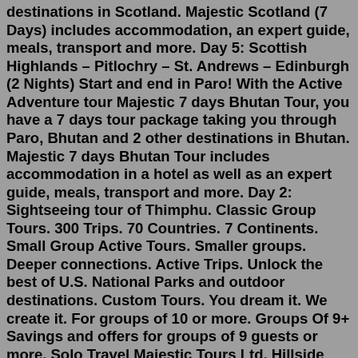destinations in Scotland. Majestic Scotland (7 Days) includes accommodation, an expert guide, meals, transport and more. Day 5: Scottish Highlands – Pitlochry – St. Andrews – Edinburgh (2 Nights) Start and end in Paro! With the Active Adventure tour Majestic 7 days Bhutan Tour, you have a 7 days tour package taking you through Paro, Bhutan and 2 other destinations in Bhutan. Majestic 7 days Bhutan Tour includes accommodation in a hotel as well as an expert guide, meals, transport and more. Day 2: Sightseeing tour of Thimphu. Classic Group Tours. 300 Trips. 70 Countries. 7 Continents. Small Group Active Tours. Smaller groups. Deeper connections. Active Trips. Unlock the best of U.S. National Parks and outdoor destinations. Custom Tours. You dream it. We create it. For groups of 10 or more. Groups Of 9+ Savings and offers for groups of 9 guests or more. Solo Travel Majestic Tours Ltd. Hillside Manor, Cumberland Street, P.O. Box N1401,Nassau / Bahamas Call : 242.323.1410 Day 1 Arrive Glasgow (2 Nights) Day 2 Glasgow Sightseeing and free time. Day